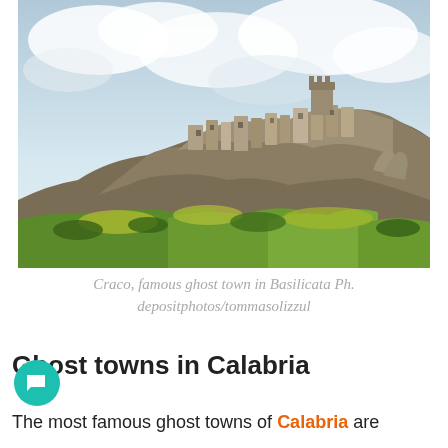[Figure (photo): Photograph of Craco, a famous abandoned ghost town in Basilicata, Italy. The ruined stone buildings and a tower sit atop a rocky hill under a partly cloudy sky, with green and yellow vegetation covering the hillside below.]
Craco, famous ghost town in Basilicata Ph. depositphotos/tommasolizzul
Ghost towns in Calabria
The most famous ghost towns of Calabria are